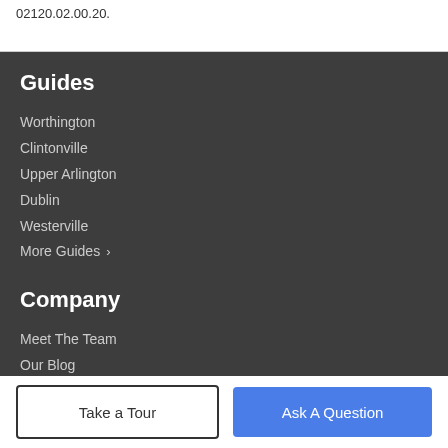02120.02.00.20.
Guides
Worthington
Clintonville
Upper Arlington
Dublin
Westerville
More Guides ›
Company
Meet The Team
Our Blog
Contact Us
Take a Tour
Ask A Question